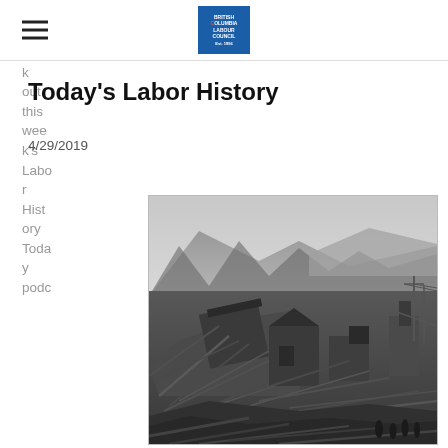British Columbia Labour Council [logo]
Today's Labor History
4/29/2019
Click here to check out this week's Labor History Today podcast
[Figure (photo): Black and white historical photograph showing a demolished or destroyed industrial/mining facility with collapsed wooden structures and debris in the foreground, mountains and bare trees visible in the background, with a few people visible at the bottom of the image.]